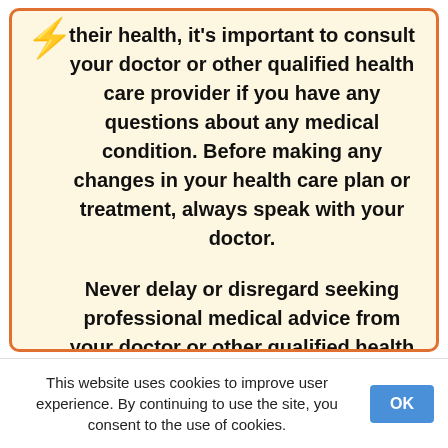their health, it's important to consult your doctor or other qualified health care provider if you have any questions about any medical condition. Before making any changes in your health care plan or treatment, always speak with your doctor.

Never delay or disregard seeking professional medical advice from your doctor or other qualified health care provider because of something you have read on this site.

All of the content on this site is presented for general informational purposes only and should not be construed as medical advice.
This website uses cookies to improve user experience. By continuing to use the site, you consent to the use of cookies.